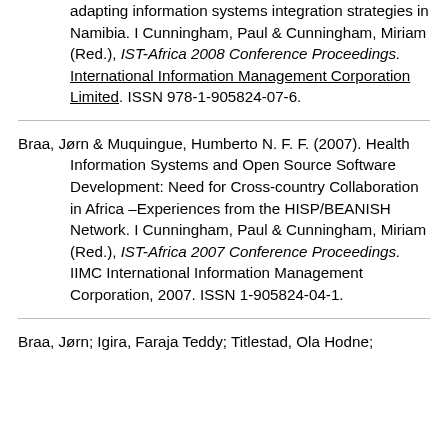adapting information systems integration strategies in Namibia. I Cunningham, Paul & Cunningham, Miriam (Red.), IST-Africa 2008 Conference Proceedings. International Information Management Corporation Limited. ISSN 978-1-905824-07-6.
Braa, Jørn & Muquingue, Humberto N. F. F. (2007). Health Information Systems and Open Source Software Development: Need for Cross-country Collaboration in Africa –Experiences from the HISP/BEANISH Network. I Cunningham, Paul & Cunningham, Miriam (Red.), IST-Africa 2007 Conference Proceedings. IIMC International Information Management Corporation, 2007. ISSN 1-905824-04-1.
Braa, Jørn; Igira, Faraja Teddy; Titlestad, Ola Hodne;